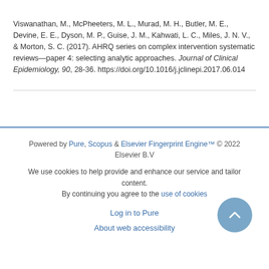Viswanathan, M., McPheeters, M. L., Murad, M. H., Butler, M. E., Devine, E. E., Dyson, M. P., Guise, J. M., Kahwati, L. C., Miles, J. N. V., & Morton, S. C. (2017). AHRQ series on complex intervention systematic reviews—paper 4: selecting analytic approaches. Journal of Clinical Epidemiology, 90, 28-36. https://doi.org/10.1016/j.jclinepi.2017.06.014
Powered by Pure, Scopus & Elsevier Fingerprint Engine™ © 2022 Elsevier B.V
We use cookies to help provide and enhance our service and tailor content. By continuing you agree to the use of cookies
Log in to Pure
About web accessibility